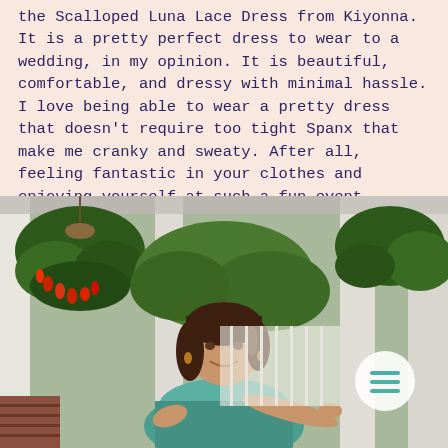the Scalloped Luna Lace Dress from Kiyonna. It is a pretty perfect dress to wear to a wedding, in my opinion. It is beautiful, comfortable, and dressy with minimal hassle. I love being able to wear a pretty dress that doesn't require too tight Spanx that make me cranky and sweaty. After all, feeling fantastic in your clothes and enjoying yourself at such a fun event shouldn't feel like a chore.
[Figure (photo): A woman with brown hair wearing a teal lace dress, smiling, standing on a porch with white columns, hanging plants with red flowers and green foliage in the background. There is a circular menu icon in the lower right area of the photo.]